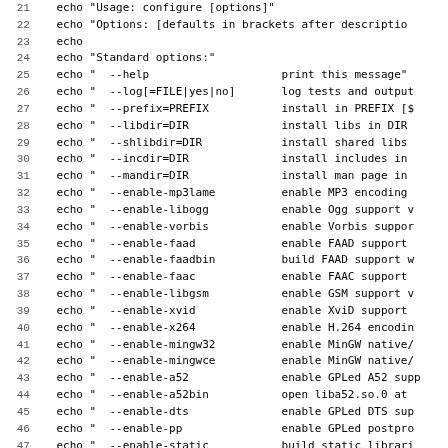Source code listing lines 21-52 of a configure shell script showing echo statements for usage options